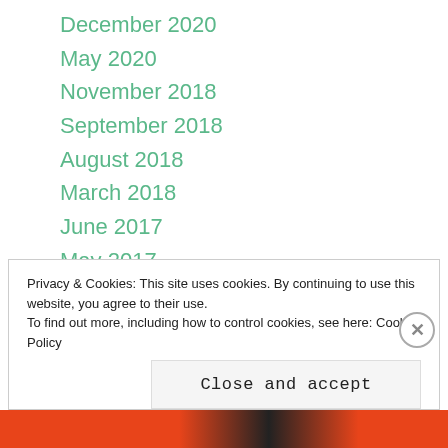December 2020
May 2020
November 2018
September 2018
August 2018
March 2018
June 2017
May 2017
February 2017
January 2017
December 2016
November 2016
Privacy & Cookies: This site uses cookies. By continuing to use this website, you agree to their use.
To find out more, including how to control cookies, see here: Cookie Policy
Close and accept